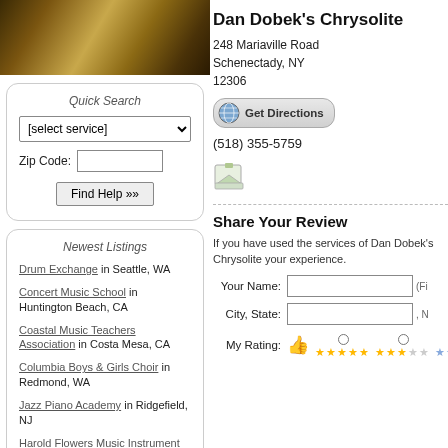[Figure (photo): Close-up photo of musical instrument strings/piano in warm golden tones]
Quick Search
[select service]
Zip Code:
Find Help »»
Newest Listings
Drum Exchange in Seattle, WA
Concert Music School in Huntington Beach, CA
Coastal Music Teachers Association in Costa Mesa, CA
Columbia Boys & Girls Choir in Redmond, WA
Jazz Piano Academy in Ridgefield, NJ
Harold Flowers Music Instrument Center in Kissimmee, FL
Greta Myers Strings in Middletown, DE
Dan Dobek's Chrysolite
248 Mariaville Road
Schenectady, NY
12306
Get Directions
(518) 355-5759
[Figure (illustration): Small map/image icon placeholder]
Share Your Review
If you have used the services of Dan Dobek's Chrysolite your experience.
Your Name:
City, State:
My Rating: